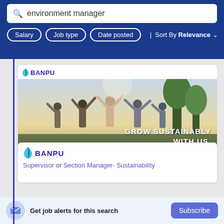environment manager
Salary | Job type | Date posted | Sort By Relevance
[Figure (screenshot): Banpu advertisement banner showing people holding hands outdoors with text 'GROW SUSTAINABLY WITH US']
[Figure (logo): Banpu company logo with blue leaf icon]
Supervisor or Section Manager- Sustainability
Get job alerts for this search
Subscribe